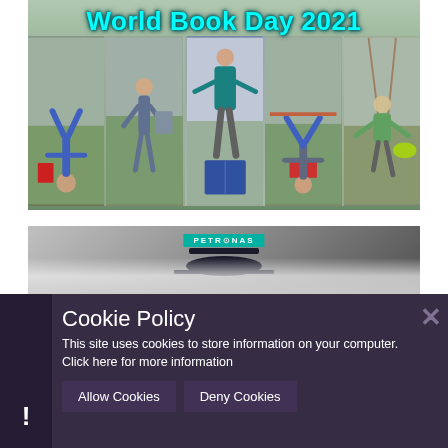[Figure (photo): World Book Day 2021 collage showing children reading books in various upside-down and acrobatic poses outdoors on playground equipment. Title text 'World Book Day 2021' in cyan/turquoise lettering at the top.]
[Figure (photo): Aerial or top-down view of a Petronas-branded Formula 1 racing car with smoke/steam visible, partially cut off at bottom of image.]
Cookie Policy
This site uses cookies to store information on your computer. Click here for more information
Allow Cookies
Deny Cookies